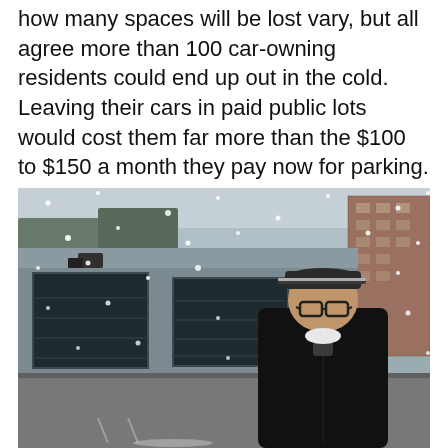how many spaces will be lost vary, but all agree more than 100 car-owning residents could end up out in the cold. Leaving their cars in paid public lots would cost them far more than the $100 to $150 a month they pay now for parking.
[Figure (photo): A man wearing a black puffer jacket, glasses, and a dark cap dusted with snow stands outdoors in front of a parking garage with closed dark garage doors. Snow is falling. A tall brick apartment building is visible in the background to the right.]